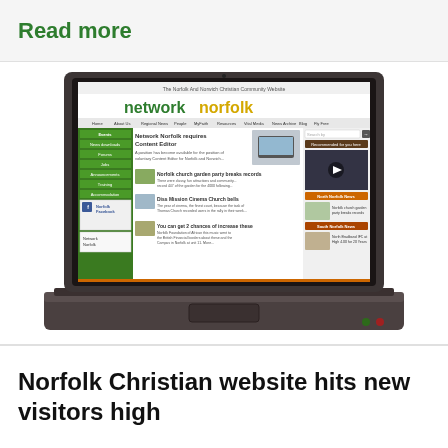Read more
[Figure (screenshot): A laptop computer displaying the Network Norfolk Christian community website, showing the site header with 'network norfolk' logo in green and yellow text, navigation menu, and various news articles and sections on the screen.]
Norfolk Christian website hits new visitors high